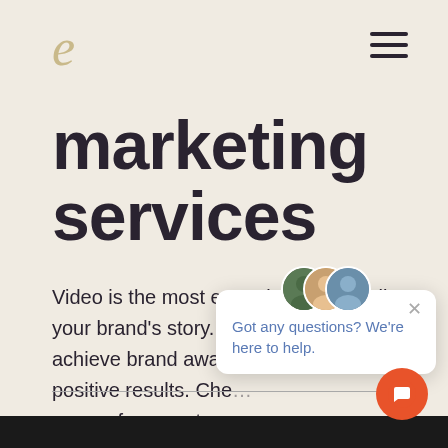e
marketing services
Video is the most engaging way to tell your brand's story. Let us help you achieve brand awareness so you c… positive results. Che… some of our past su… with clients.
[Figure (screenshot): Live chat popup with avatars and message: Got any questions? We're here to help.]